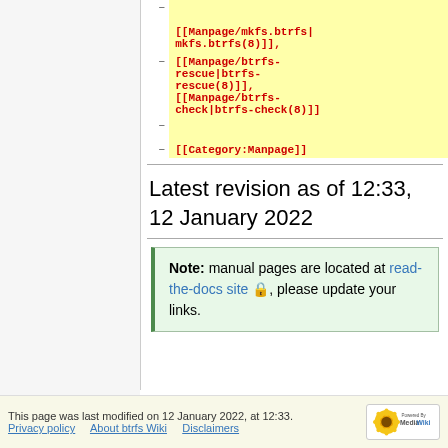[[Manpage/mkfs.btrfs|mkfs.btrfs(8)]], [[Manpage/btrfs-rescue|btrfs-rescue(8)]], [[Manpage/btrfs-check|btrfs-check(8)]]
[[Category:Manpage]]
Latest revision as of 12:33, 12 January 2022
Note: manual pages are located at read-the-docs site, please update your links.
This page was last modified on 12 January 2022, at 12:33. Privacy policy · About btrfs Wiki · Disclaimers